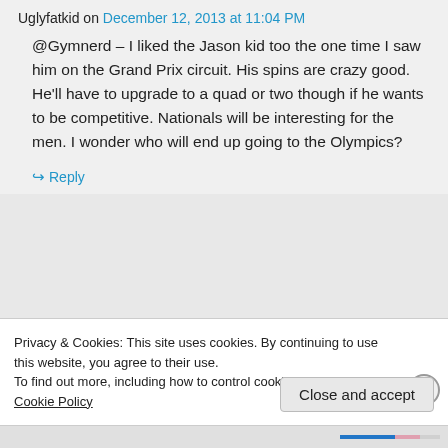Uglyfatkid on December 12, 2013 at 11:04 PM
@Gymnerd – I liked the Jason kid too the one time I saw him on the Grand Prix circuit. His spins are crazy good. He'll have to upgrade to a quad or two though if he wants to be competitive. Nationals will be interesting for the men. I wonder who will end up going to the Olympics?
Reply
Privacy & Cookies: This site uses cookies. By continuing to use this website, you agree to their use.
To find out more, including how to control cookies, see here: Cookie Policy